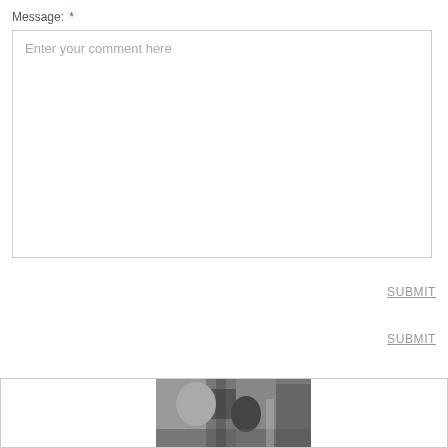Message: *
Enter your comment here
SUBMIT
SUBMIT
[Figure (photo): Black and white photograph, partially visible at bottom of page, centered horizontally within a bordered box]